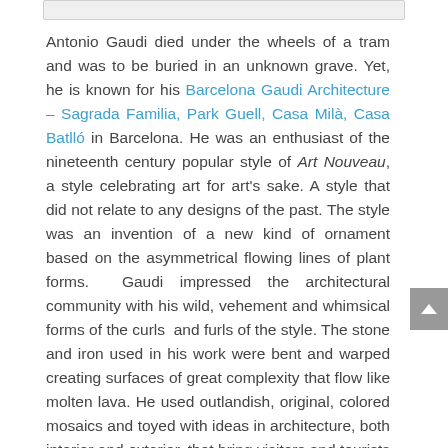[Figure (other): Top navigation bar or header image strip, light gray rectangle]
Antonio Gaudi died under the wheels of a tram and was to be buried in an unknown grave. Yet, he is known for his Barcelona Gaudi Architecture – Sagrada Familia, Park Guell, Casa Milà, Casa Batlló in Barcelona. He was an enthusiast of the nineteenth century popular style of Art Nouveau, a style celebrating art for art's sake. A style that did not relate to any designs of the past. The style was an invention of a new kind of ornament based on the asymmetrical flowing lines of plant forms.  Gaudi impressed the architectural community with his wild, vehement and whimsical forms of the curls  and furls of the style. The stone and iron used in his work were bent and warped creating surfaces of great complexity that flow like molten lava. He used outlandish, original, colored mosaics and toyed with ideas in architecture, both interior and exterior, that bring visitors and tourists to Barcelona by the millions.